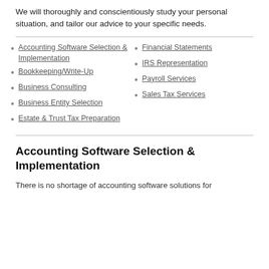We will thoroughly and conscientiously study your personal situation, and tailor our advice to your specific needs.
Accounting Software Selection & Implementation
Bookkeeping/Write-Up
Business Consulting
Business Entity Selection
Estate & Trust Tax Preparation
Financial Statements
IRS Representation
Payroll Services
Sales Tax Services
Accounting Software Selection & Implementation
There is no shortage of accounting software solutions for